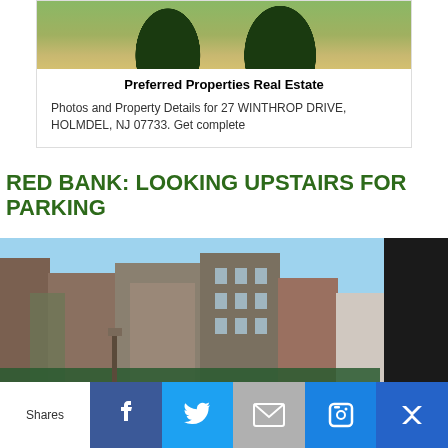[Figure (photo): Property photo showing landscaped shrubs on grass from Preferred Properties Real Estate]
Preferred Properties Real Estate
Photos and Property Details for 27 WINTHROP DRIVE, HOLMDEL, NJ 07733. Get complete
RED BANK: LOOKING UPSTAIRS FOR PARKING
[Figure (photo): Street view photograph of Red Bank downtown with brick commercial buildings, storefronts with green awnings, and a clear blue sky]
Shares | Facebook | Twitter | Email | Gettr | Crown